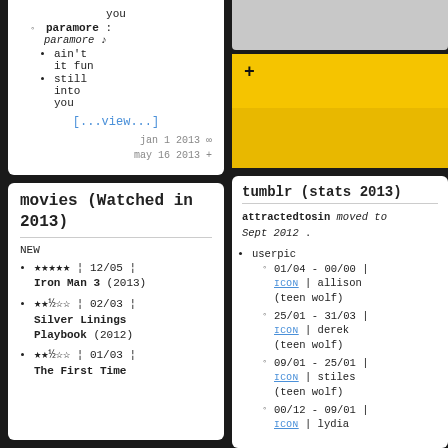you
paramore : paramore ♪ • ain't it fun • still into you
[...view...]
jan 1 2013 ∞
may 16 2013 +
movies (Watched in 2013)
NEW
★★★★★ ¦ 12/05 ¦ Iron Man 3 (2013)
★★½☆☆ ¦ 02/03 ¦ Silver Linings Playbook (2012)
★★½☆☆ ¦ 01/03 ¦ The First Time
[Figure (screenshot): Grey box at top right]
+
tumblr (stats 2013)
attractedtosin moved to Sept 2012 .
userpic
01/04 - 00/00 | ICON | allison (teen wolf)
25/01 - 31/03 | ICON | derek (teen wolf)
09/01 - 25/01 | ICON | stiles (teen wolf)
00/12 - 09/01 | ICON | lydia